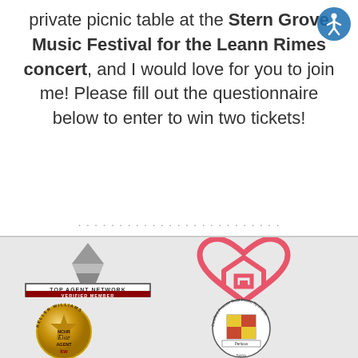private picnic table at the Stern Grove Music Festival for the Leann Rimes concert, and I would love for you to join me! Please fill out the questionnaire below to enter to win two tickets!
[Figure (logo): Accessibility icon - circular blue icon with person symbol]
[Figure (logo): Top Agent Network Verified Member badge with pyramid logo]
[Figure (logo): Heart-shaped house logo in coral/pink color]
[Figure (logo): Keller Williams NCHR Elite Agent gold medallion badge]
[Figure (logo): Certified Probate Real Estate Specialist circular seal]